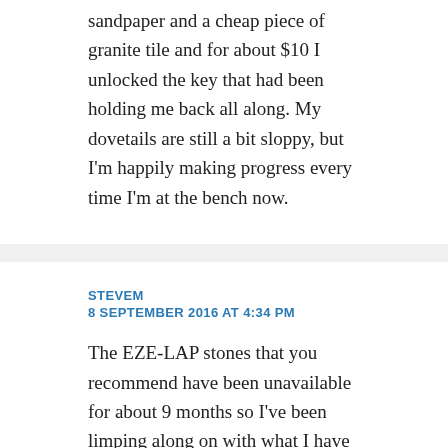sandpaper and a cheap piece of granite tile and for about $10 I unlocked the key that had been holding me back all along. My dovetails are still a bit sloppy, but I'm happily making progress every time I'm at the bench now.
STEVEM
8 SEPTEMBER 2016 AT 4:34 PM
The EZE-LAP stones that you recommend have been unavailable for about 9 months so I've been limping along on with what I have till they become available again. It is frustrating to know that I could have a sharper tool, but I am determined to wait.